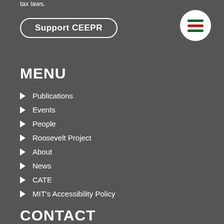tax laws.
Support CEEPR
MENU
Publications
Events
People
Roosevelt Project
About
News
CATE
MIT's Accessibility Policy
CONTACT